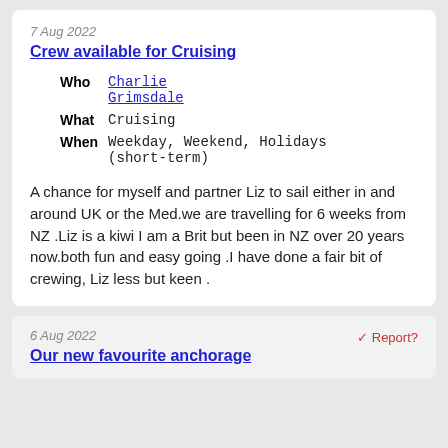7 Aug 2022
Crew available for Cruising
| Field | Value |
| --- | --- |
| Who | Charlie Grimsdale |
| What | Cruising |
| When | Weekday, Weekend, Holidays (short-term) |
A chance for myself and partner Liz to sail either in and around UK or the Med.we are travelling for 6 weeks from NZ .Liz is a kiwi I am a Brit but been in NZ over 20 years now.both fun and easy going .I have done a fair bit of crewing, Liz less but keen .
6 Aug 2022
✓ Report?
Our new favourite anchorage